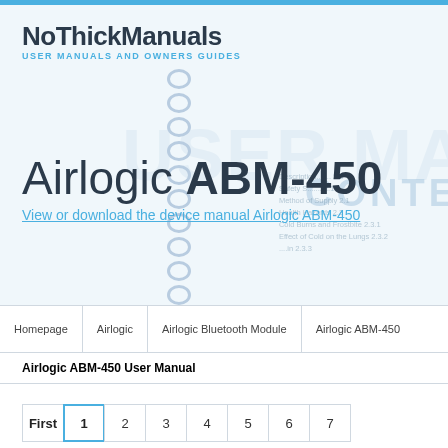NoThickManuals — USER MANUALS AND OWNERS GUIDES
[Figure (screenshot): Background image of open user manual booklet with spiral binding and table of contents visible]
Airlogic ABM-450
View or download the device manual Airlogic ABM-450
Homepage
Airlogic
Airlogic Bluetooth Module
Airlogic ABM-450
Airlogic ABM-450 User Manual
First  1  2  3  4  5  6  7